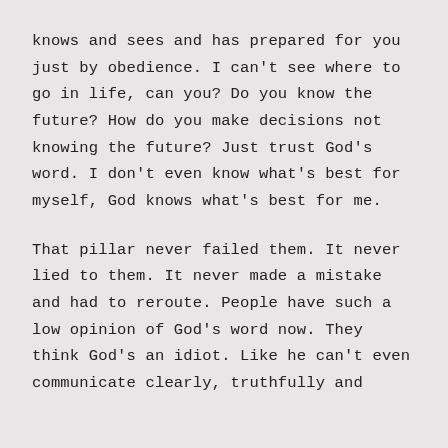knows and sees and has prepared for you just by obedience. I can't see where to go in life, can you? Do you know the future? How do you make decisions not knowing the future? Just trust God's word. I don't even know what's best for myself, God knows what's best for me.
That pillar never failed them. It never lied to them. It never made a mistake and had to reroute. People have such a low opinion of God's word now. They think God's an idiot. Like he can't even communicate clearly, truthfully and